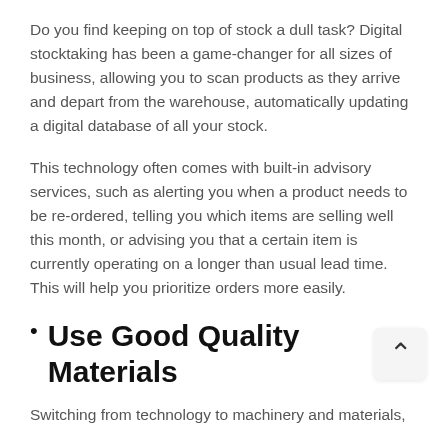Do you find keeping on top of stock a dull task? Digital stocktaking has been a game-changer for all sizes of business, allowing you to scan products as they arrive and depart from the warehouse, automatically updating a digital database of all your stock.
This technology often comes with built-in advisory services, such as alerting you when a product needs to be re-ordered, telling you which items are selling well this month, or advising you that a certain item is currently operating on a longer than usual lead time. This will help you prioritize orders more easily.
Use Good Quality Materials
Switching from technology to machinery and materials,